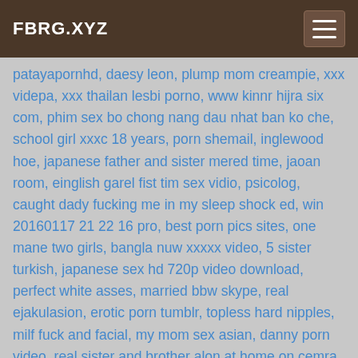FBRG.XYZ
patayapornhd, daesy leon, plump mom creampie, xxx videpa, xxx thailan lesbi porno, www kinnr hijra six com, phim sex bo chong nang dau nhat ban ko che, school girl xxxc 18 years, porn shemail, inglewood hoe, japanese father and sister mered time, jaoan room, einglish garel fist tim sex vidio, psicolog, caught dady fucking me in my sleep shock ed, win 20160117 21 22 16 pro, best porn pics sites, one mane two girls, bangla nuw xxxxx video, 5 sister turkish, japanese sex hd 720p video download, perfect white asses, married bbw skype, real ejakulasion, erotic porn tumblr, topless hard nipples, milf fuck and facial, my mom sex asian, danny porn video, real sister and brother alon at home on cemra, kleine titten ficken, st sex jabardasti raif, india crying rape, Small girl with bi, Familypies, leslietopulos, lil teaser before bed, janda indonesia xvideos, my teacher ava adm hot, crystal